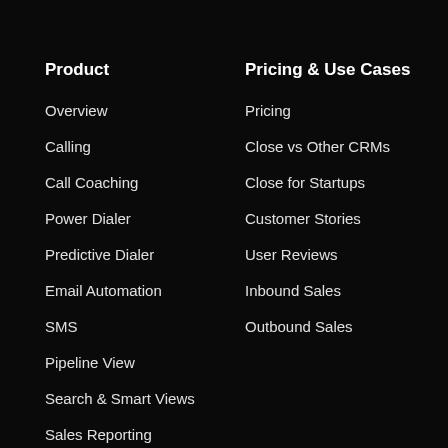Product
Overview
Calling
Call Coaching
Power Dialer
Predictive Dialer
Email Automation
SMS
Pipeline View
Search & Smart Views
Sales Reporting
CRM Integrations
Pricing & Use Cases
Pricing
Close vs Other CRMs
Close for Startups
Customer Stories
User Reviews
Inbound Sales
Outbound Sales